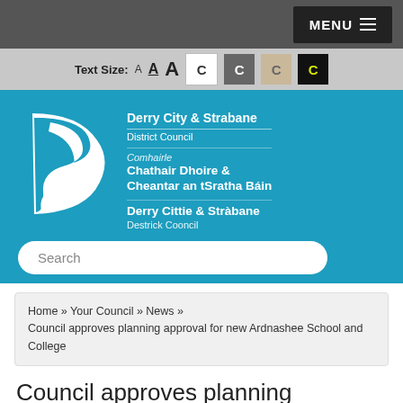MENU
Text Size: A A A C C C C
[Figure (logo): Derry City & Strabane District Council logo with stylized S/D swoosh and trilingual council name in English, Irish, and Ulster Scots]
Search
Home » Your Council » News » Council approves planning approval for new Ardnashee School and College
Council approves planning